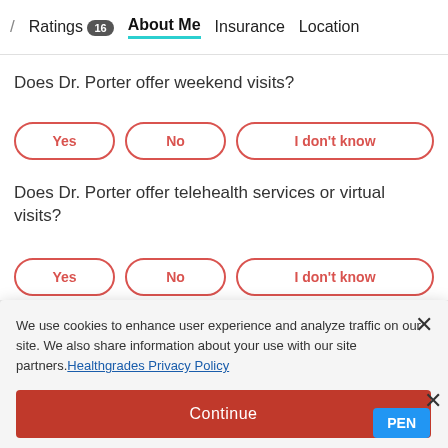/ Ratings 16  About Me  Insurance  Location
Does Dr. Porter offer weekend visits?
Yes  No  I don't know
Does Dr. Porter offer telehealth services or virtual visits?
Yes  No  I don't know
We use cookies to enhance user experience and analyze traffic on our site. We also share information about your use with our site partners. Healthgrades Privacy Policy
Continue
Access my Privacy Preferences